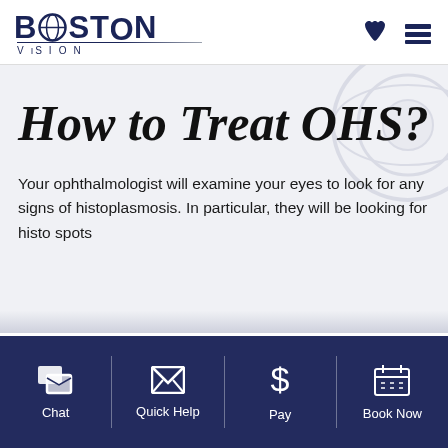[Figure (logo): Boston Vision logo with stylized O containing a globe/eye graphic, dark navy text, VISION subtitle]
How to Treat OHS?
Your ophthalmologist will examine your eyes to look for any signs of histoplasmosis. In particular, they will be looking for histo spots
Chat | Quick Help | Pay | Book Now